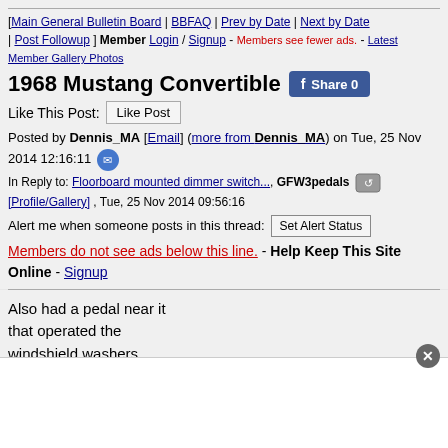[Main General Bulletin Board] | BBFAQ | Prev by Date | Next by Date | Post Followup ] Member Login / Signup - Members see fewer ads. - Latest Member Gallery Photos
1968 Mustang Convertible
Like This Post: [Like Post]
Posted by Dennis_MA [Email] (more from Dennis_MA) on Tue, 25 Nov 2014 12:16:11
In Reply to: Floorboard mounted dimmer switch..., GFW3pedals [Profile/Gallery] , Tue, 25 Nov 2014 09:56:16
Alert me when someone posts in this thread: [Set Alert Status]
Members do not see ads below this line. - Help Keep This Site Online - Signup
Also had a pedal near it that operated the windshield washers.